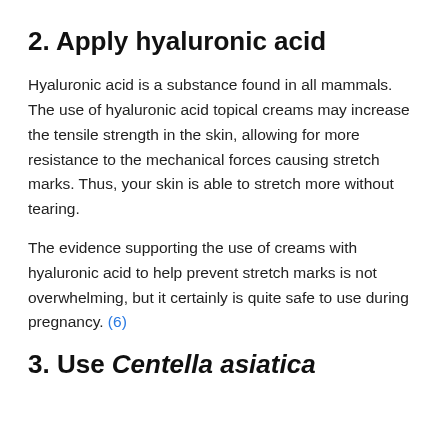2. Apply hyaluronic acid
Hyaluronic acid is a substance found in all mammals. The use of hyaluronic acid topical creams may increase the tensile strength in the skin, allowing for more resistance to the mechanical forces causing stretch marks. Thus, your skin is able to stretch more without tearing.
The evidence supporting the use of creams with hyaluronic acid to help prevent stretch marks is not overwhelming, but it certainly is quite safe to use during pregnancy. (6)
3. Use Centella asiatica